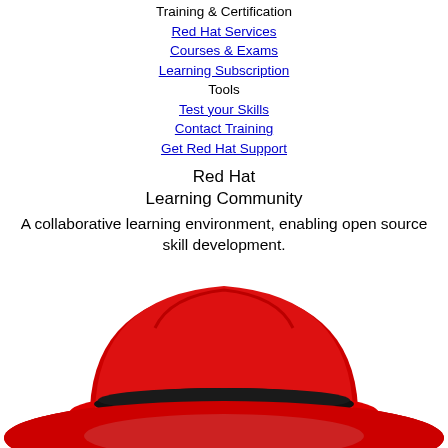Training & Certification
Red Hat Services
Courses & Exams
Learning Subscription
Tools
Test your Skills
Contact Training
Get Red Hat Support
Red Hat
Learning Community
A collaborative learning environment, enabling open source skill development.
[Figure (illustration): Red Hat logo: a large red fedora hat with a black band, shown from a slightly elevated front angle, cropped at the bottom of the page.]